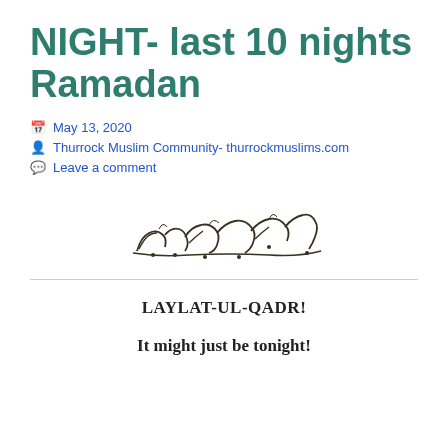NIGHT- last 10 nights Ramadan
May 13, 2020
Thurrock Muslim Community- thurrockmuslims.com
Leave a comment
[Figure (illustration): Arabic Basmala calligraphy text]
LAYLAT-UL-QADR!
It might just be tonight!